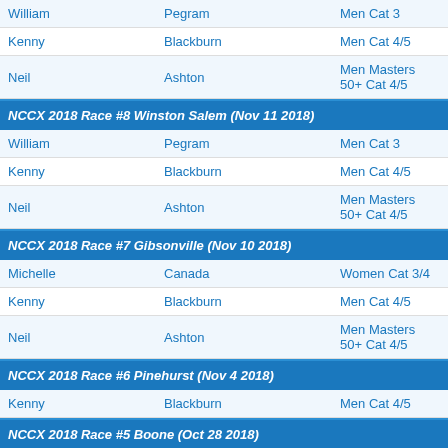| First | Last | Category |
| --- | --- | --- |
| William | Pegram | Men Cat 3 |
| Kenny | Blackburn | Men Cat 4/5 |
| Neil | Ashton | Men Masters 50+ Cat 4/5 |
NCCX 2018 Race #8 Winston Salem (Nov 11 2018)
| First | Last | Category |
| --- | --- | --- |
| William | Pegram | Men Cat 3 |
| Kenny | Blackburn | Men Cat 4/5 |
| Neil | Ashton | Men Masters 50+ Cat 4/5 |
NCCX 2018 Race #7 Gibsonville (Nov 10 2018)
| First | Last | Category |
| --- | --- | --- |
| Michelle | Canada | Women Cat 3/4 |
| Kenny | Blackburn | Men Cat 4/5 |
| Neil | Ashton | Men Masters 50+ Cat 4/5 |
NCCX 2018 Race #6 Pinehurst (Nov 4 2018)
| First | Last | Category |
| --- | --- | --- |
| Kenny | Blackburn | Men Cat 4/5 |
NCCX 2018 Race #5 Boone (Oct 28 2018)
| First | Last | Category |
| --- | --- | --- |
| Kenny | Blackburn | Men Cat 4/5 |